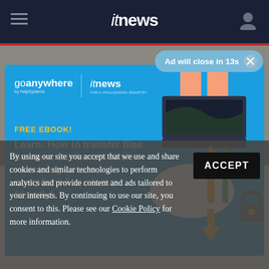itnews
[Figure (screenshot): Ad close button: 'Ad will close in 13s' with X button on blue-grey pill]
[Figure (infographic): GoAnywhere by HelpSystems x itnews advertisement. FREE EBOOK! Learn: How to transfer files between customers while remaining secure, compliant & customer friendly! Blue background with illustration of hands typing on laptop above cloud with upload/download arrows and padlock.]
By using our site you accept that we use and share cookies and similar technologies to perform analytics and provide content and ads tailored to your interests. By continuing to use our site, you consent to this. Please see our Cookie Policy for more information.